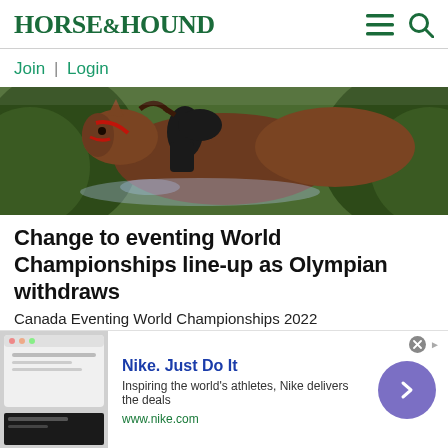HORSE&HOUND
Join | Login
[Figure (photo): A horse and rider jumping through hedges, close-up action shot]
Change to eventing World Championships line-up as Olympian withdraws
Canada Eventing World Championships 2022
Horse and Hound
[Figure (photo): Partial view of a building with trees in the background]
[Figure (other): Nike advertisement: Nike. Just Do It. Inspiring the world's athletes, Nike delivers the deals. www.nike.com]